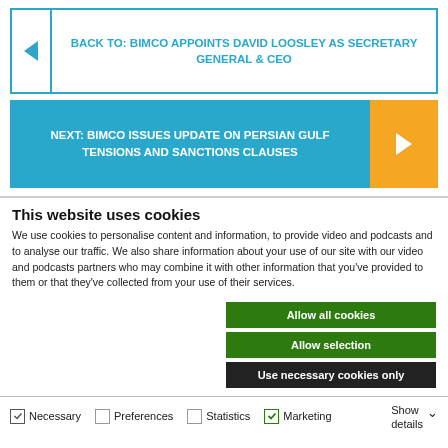BACK TO: BIMCO APPOINTS DAVID LOOSLEY AS SECRETARY GENERAL & CEO
NEXT: BIMCO ISSUES UPDATE ON PERSIAN GULF TENSIONS AND SANCTIONS CLAUSES
This website uses cookies
We use cookies to personalise content and information, to provide video and podcasts and to analyse our traffic. We also share information about your use of our site with our video and podcasts partners who may combine it with other information that you've provided to them or that they've collected from your use of their services.
Allow all cookies
Allow selection
Use necessary cookies only
Necessary   Preferences   Statistics   Marketing   Show details